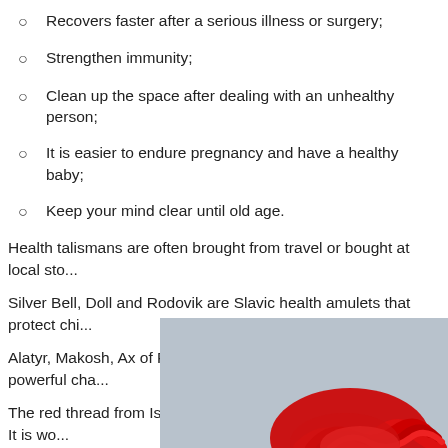Recovers faster after a serious illness or surgery;
Strengthen immunity;
Clean up the space after dealing with an unhealthy person;
It is easier to endure pregnancy and have a healthy baby;
Keep your mind clear until old age.
Health talismans are often brought from travel or bought at local sto...
Silver Bell, Doll and Rodovik are Slavic health amulets that protect chi...
Alatyr, Makosh, Ax of Perun, Seal of Veles, Dukhobor is a powerful cha...
The red thread from Israel is a powerful talisman for diseases. It is wo...
[Figure (photo): Photo of red thread coiled on a gray surface, partially visible at the bottom right of the page]